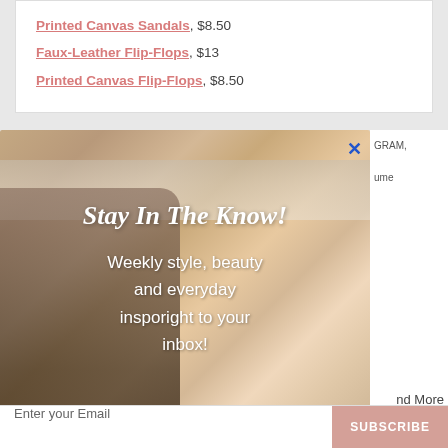Printed Canvas Sandals, $8.50
Faux-Leather Flip-Flops, $13
Printed Canvas Flip-Flops, $8.50
[Figure (photo): Newsletter signup popup overlay featuring a smiling blonde woman on a couch with decorative pillows, shelf with decor in background, and overlay text 'Stay In The Know! Weekly style, beauty and everyday insporight to your inbox!']
Enter your Email
SUBSCRIBE